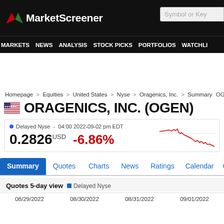MarketScreener
MARKETS NEWS ANALYSIS STOCK PICKS PORTFOLIOS WATCHLI
Homepage > Equities > United States > Nyse > Oragenics, Inc. > Summary OG
ORAGENICS, INC. (OGEN)
Delayed Nyse - 04:00 2022-09-02 pm EDT
0.2826 USD   -6.86%
[Figure (line-chart): Small line chart showing OGEN stock price over recent period with declining red line]
Summary  Quotes  Charts  News  Ratings  Calendar  Compan
Quotes 5-day view  Delayed Nyse
08/29/2022  08/30/2022  08/31/2022  09/01/2022